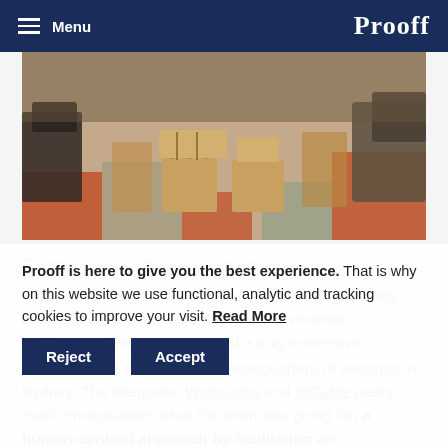Menu  Prooff
[Figure (photo): Interior photo of a modern office/lounge area with wooden stools and tables, upholstered chairs, and a colorful tiled floor with orange, teal, and grey squares.]
3  Westpac (Sydney, AU)
With references to the Australian narrative of gathering around the shed, the campfire and the veranda architectural firm Geyer created a truly immersive experience for the 60,000 m2 headquarters of Westpac in Sydney. The integrated WorkSofas and SitTable pretty much encapsulates what the team was going for: a human-centred approach by facilitating an
Prooff is here to give you the best experience. That is why on this website we use functional, analytic and tracking cookies to improve your visit. Read More
Reject  Accept